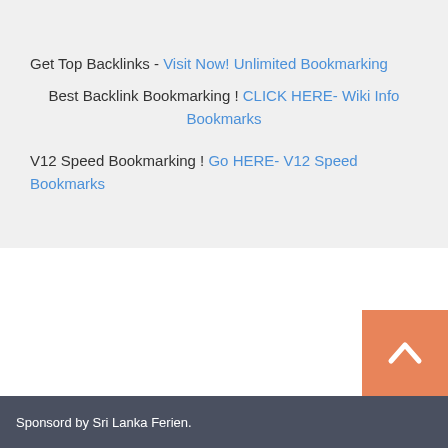Get Top Backlinks - Visit Now! Unlimited Bookmarking
Best Backlink Bookmarking ! CLICK HERE- Wiki Info Bookmarks
V12 Speed Bookmarking ! Go HERE- V12 Speed Bookmarks
[Figure (other): Orange back-to-top arrow button in bottom-right corner]
Sponsord by Sri Lanka Ferien.